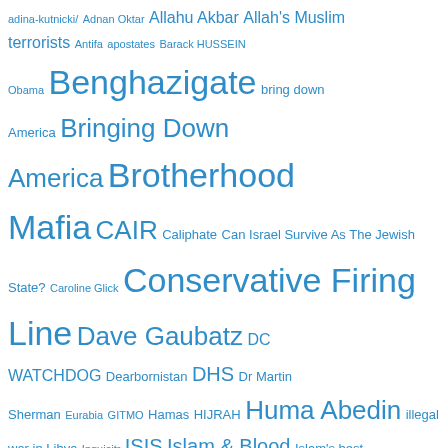[Figure (infographic): Tag cloud of political/news-related terms in varying blue font sizes, indicating frequency or importance. Terms include: adina-kutnicki/, Adnan Oktar, Allahu Akbar, Allah's Muslim terrorists, Antifa, apostates, Barack HUSSEIN Obama, Benghazigate, bring down America, Bringing Down America, Brotherhood Mafia, CAIR, Caliphate, Can Israel Survive As The Jewish State?, Caroline Glick, Conservative Firing Line, Dave Gaubatz, DC WATCHDOG, Dearbornistan, DHS, Dr Martin Sherman, Eurabia, GITMO, Hamas, HIJRAH, Huma Abedin, illegal war in Libya, Inquisitr, ISIS, Islam & Blood, Islam's best friend, Islam Exposed, Islamic barbarism, Islamic jihad, Islamophobia, Israel's Voice, Joe For America, Malik Obama, MINNESOTASTAN, MUslim Brotherhood, Muslim Brotherhood Mafia, Northeast Intelligence Network, Obama Inc, pagan moon god Allah, PM Netanyahu, Professor Louis Rene Beres]